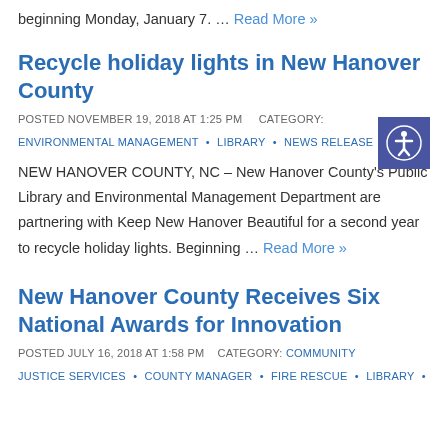beginning Monday, January 7. … Read More »
Recycle holiday lights in New Hanover County
POSTED NOVEMBER 19, 2018 AT 1:25 PM    CATEGORY:
ENVIRONMENTAL MANAGEMENT • LIBRARY • NEWS RELEASE
NEW HANOVER COUNTY, NC – New Hanover County's Public Library and Environmental Management Department are partnering with Keep New Hanover Beautiful for a second year to recycle holiday lights. Beginning … Read More »
New Hanover County Receives Six National Awards for Innovation
POSTED JULY 16, 2018 AT 1:58 PM    CATEGORY: COMMUNITY JUSTICE SERVICES • COUNTY MANAGER • FIRE RESCUE • LIBRARY •